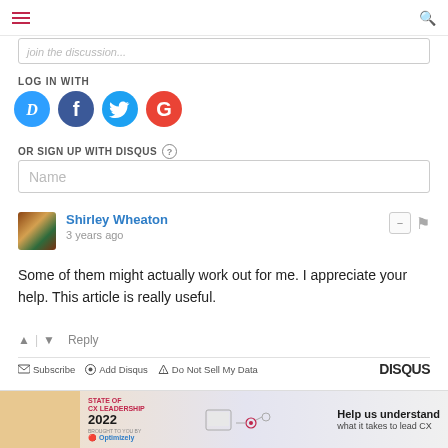Navigation bar with hamburger menu and search icon
join the discussion...
LOG IN WITH
[Figure (other): Social login icons: Disqus (blue circle with D), Facebook (dark blue circle with f), Twitter (light blue circle with bird), Google (red circle with G)]
OR SIGN UP WITH DISQUS ?
Name
Shirley Wheaton
3 years ago
Some of them might actually work out for me. I appreciate your help. This article is really useful.
↑ | ↓  Reply
Subscribe  Add Disqus  Do Not Sell My Data  DISQUS
[Figure (infographic): Advertisement banner: STATE OF CX LEADERSHIP 2022 brought to you by Optimizely — Help us understand what it takes to lead CX]